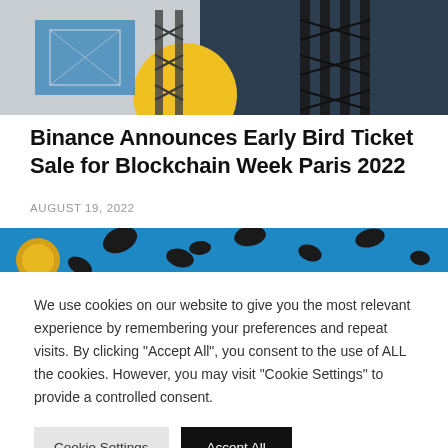[Figure (illustration): Stylized image of the Eiffel Tower with blockchain/geometric overlay in blue, gray, and yellow colors]
Binance Announces Early Bird Ticket Sale for Blockchain Week Paris 2022
AUGUST 19, 2022
[Figure (photo): Partial image with blue background and yellow/dark cookie-like shapes]
We use cookies on our website to give you the most relevant experience by remembering your preferences and repeat visits. By clicking "Accept All", you consent to the use of ALL the cookies. However, you may visit "Cookie Settings" to provide a controlled consent.
Cookie Settings | Accept All
Read our Cookie Statement